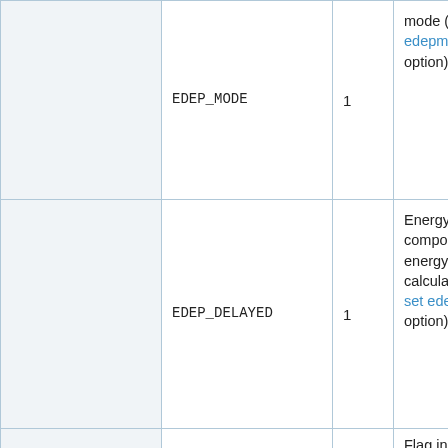|  | EDEP_MODE | 1 | mode (see set edepmode input option) |
|  | EDEP_DELAYED | 1 | Energy of delayed components in energy deposition calculations (see set edepdel input option) |
|  | EDEP_KEFF_CORR | 1 | Flag indicating whether or not correction for energy deposition |